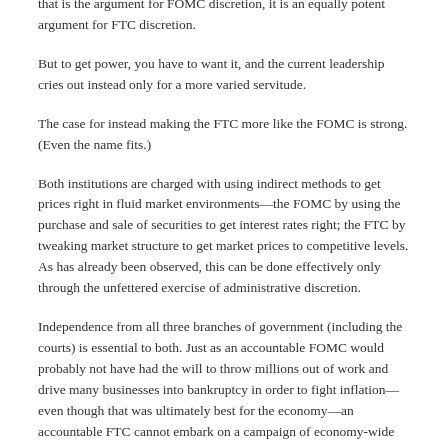that is the argument for FOMC discretion, it is an equally potent argument for FTC discretion.
But to get power, you have to want it, and the current leadership cries out instead only for a more varied servitude.
The case for instead making the FTC more like the FOMC is strong. (Even the name fits.)
Both institutions are charged with using indirect methods to get prices right in fluid market environments—the FOMC by using the purchase and sale of securities to get interest rates right; the FTC by tweaking market structure to get market prices to competitive levels. As has already been observed, this can be done effectively only through the unfettered exercise of administrative discretion.
Independence from all three branches of government (including the courts) is essential to both. Just as an accountable FOMC would probably not have had the will to throw millions out of work and drive many businesses into bankruptcy in order to fight inflation—even though that was ultimately best for the economy—an accountable FTC cannot embark on a campaign of economy-wide deconcentration when that is the right thing for the economy (which is not to say that it always is).